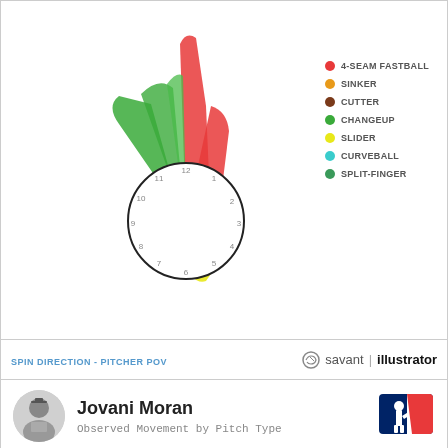[Figure (other): Spin direction clock diagram (pitcher POV) showing pitch type spin directions as wedge/sector shapes emanating from a clock face. Red sector (4-seam fastball) points toward 12-1 o'clock. Green sectors (changeup) point toward 10-11 o'clock. Small red sector toward 1-2 o'clock. Small yellow sector near 5-6 o'clock (slider). Clock face with hour markers 1-12.]
SPIN DIRECTION - PITCHER POV
savant illustrator
Jovani Moran
Observed Movement by Pitch Type